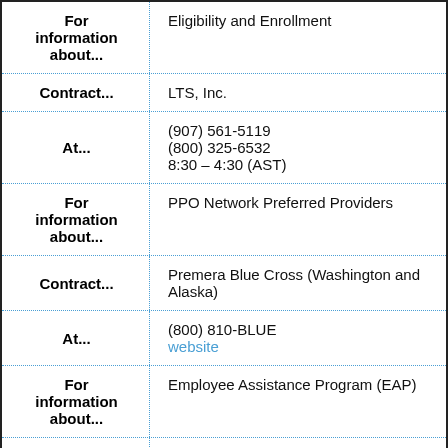| For information about... |  |
| --- | --- |
| For information about... | Eligibility and Enrollment |
| Contract... | LTS, Inc. |
| At... | (907) 561-5119
(800) 325-6532
8:30 – 4:30 (AST) |
| For information about... | PPO Network Preferred Providers |
| Contract... | Premera Blue Cross (Washington and Alaska) |
| At... | (800) 810-BLUE
website |
| For information about... | Employee Assistance Program (EAP) |
| Contract... | Fully Effective Employees... |